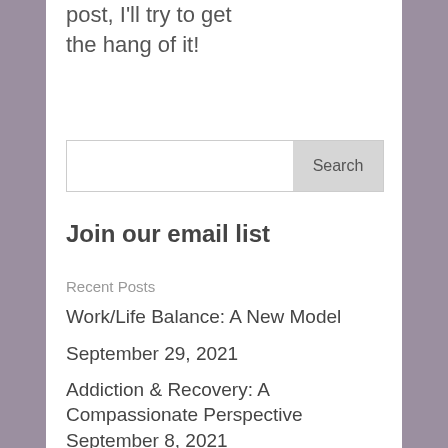post, I'll try to get the hang of it!
Search
Join our email list
Recent Posts
Work/Life Balance: A New Model
September 29, 2021
Addiction & Recovery: A Compassionate Perspective
September 8, 2021